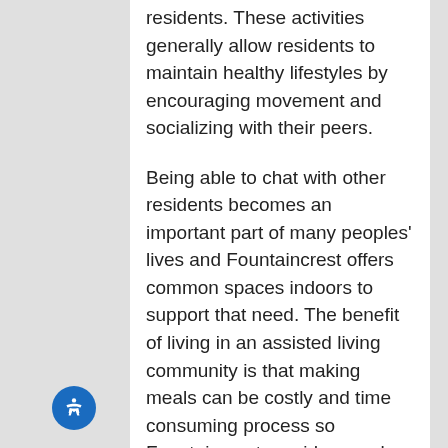residents. These activities generally allow residents to maintain healthy lifestyles by encouraging movement and socializing with their peers.
Being able to chat with other residents becomes an important part of many peoples' lives and Fountaincrest offers common spaces indoors to support that need. The benefit of living in an assisted living community is that making meals can be costly and time consuming process so Fountaincrest provides meals for residents.
Staff is awake and available 24 hours a day so if any emergencies occur no matter the time, there will be someone ready to help. Making sure residents